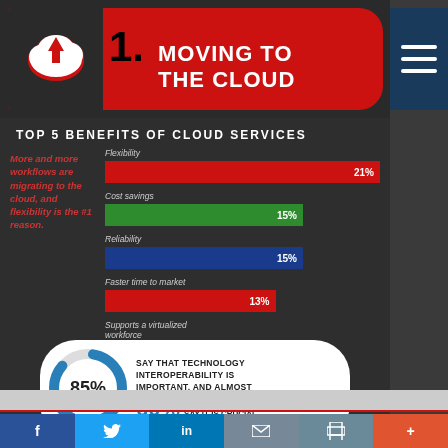1. Moving to the Cloud
TOP 5 BENEFITS OF CLOUD SERVICES
More and more workflows are migrating to the cloud, and flexibility is the #1 reason.
[Figure (bar-chart): Top 5 Benefits of Cloud Services]
[Figure (donut-chart): 85% say that technology interoperability is important, and almost 60% say it is crucial]
SAY THAT TECHNOLOGY INTEROPERABILITY IS IMPORTANT, AND ALMOST 60% SAY IT IS CRUCIAL
f  Twitter  in  Mail  Print  +